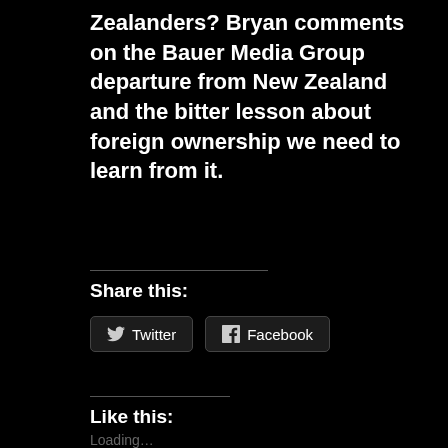Zealanders? Bryan comments on the Bauer Media Group departure from New Zealand and the bitter lesson about foreign ownership we need to learn from it.
Share this:
[Figure (other): Twitter and Facebook share buttons]
Like this:
Loading...